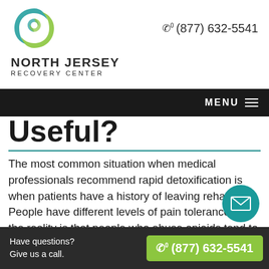[Figure (logo): North Jersey Recovery Center logo — teal and green swirl/infinity shape]
NORTH JERSEY RECOVERY CENTER  ☎ (877) 632-5541
Useful?
The most common situation when medical professionals recommend rapid detoxification is when patients have a history of leaving rehab. People have different levels of pain tolerance, and the reality is that people who abuse opioids tend to have lower levels of pain tolerance. Also, some patients are accustomed to using larger doses of a substance, and coming down from a high dose can result in more serious withdrawal
Have questions? Give us a call.  ☎ (877) 632-5541